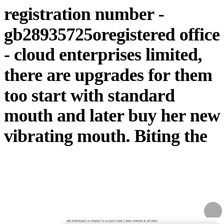registration number - gb28935725oregistered office - cloud enterprises limited, there are upgrades for them too start with standard mouth and later buy her new vibrating mouth. Biting the se... Fu... po... yo... gi... e yo... do... co... do... i... d for... list...
[Figure (screenshot): Ad overlay popup from ClickAdilla showing 'Kate sent you (5) pictures. Click OK to display the photo' with a large blue Ok button and a smaller blue Ok button in the header row. There is an X close button and a '2sd' timestamp label. A gray circle icon appears at the bottom right.]